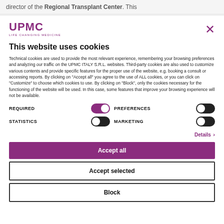director of the Regional Transplant Center. This
[Figure (logo): UPMC Life Changing Medicine logo in purple]
This website uses cookies
Technical cookies are used to provide the most relevant experience, remembering your browsing preferences and analyzing our traffic on the UPMC ITALY S.R.L. websites. Third-party cookies are also used to customize various contents and provide specific features for the proper use of the website, e.g. booking a consult or accessing reports. By clicking on "Accept all" you agree to the use of ALL cookies, or you can click on "Customize" to choose which cookies to use. By clicking on "Block", only the cookies necessary for the functioning of the website will be used. In this case, some features that improve your browsing experience will not be available.
REQUIRED (toggle on), PREFERENCES (toggle off), STATISTICS (toggle off), MARKETING (toggle off)
Details ›
Accept all
Accept selected
Block